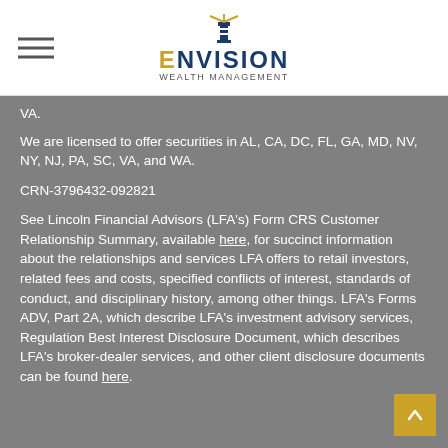[Figure (logo): Envision Wealth Management logo with lighthouse icon and company name]
VA.
We are licensed to offer securities in AL, CA, DC, FL, GA, MD, NV, NY, NJ, PA, SC, VA, and WA.
CRN-3796432-092821
See Lincoln Financial Advisors (LFA's) Form CRS Customer Relationship Summary, available here, for succinct information about the relationships and services LFA offers to retail investors, related fees and costs, specified conflicts of interest, standards of conduct, and disciplinary history, among other things. LFA's Forms ADV, Part 2A, which describe LFA's investment advisory services, Regulation Best Interest Disclosure Document, which describes LFA's broker-dealer services, and other client disclosure documents can be found here.